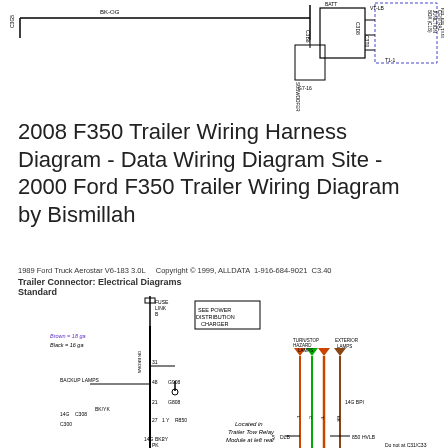[Figure (schematic): Top portion of a wiring harness schematic showing connectors C3B8, C3D8, C3T0, SUBWOOFER module, BATT, VT-LB, and CENTRAL JUNCTION BOX with wire routing lines and labels including BK-OG, C3D5, T1-1]
2008 F350 Trailer Wiring Harness Diagram - Data Wiring Diagram Site - 2000 Ford F350 Trailer Wiring Diagram by Bismillah
1989 Ford Truck Aerostar V6-183 3.0L    Copyright © 1999, ALLDATA  1-916-684-9021  C3.40
Trailer Connector: Electrical Diagrams Standard
[Figure (schematic): Bottom wiring diagram showing trailer connector electrical schematic with FUSE LINK B, BACKUP LAMPS, SEE POWER DISTRIBUTION CHARGER box, connectors G908, G808, G850, RD850, turnout/hazard lamps, exterior lamps, wire colors including Brown 18 ga, Black 16 ga, and note 'Located in Trailer Tow Relay Module at left rear']